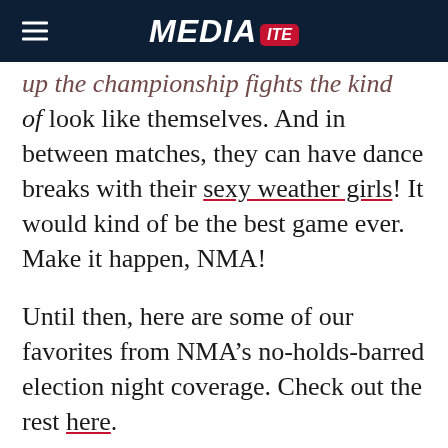MEDIAITE
of look like themselves. And in between matches, they can have dance breaks with their sexy weather girls! It would kind of be the best game ever. Make it happen, NMA!
Until then, here are some of our favorites from NMA’s no-holds-barred election night coverage. Check out the rest here.